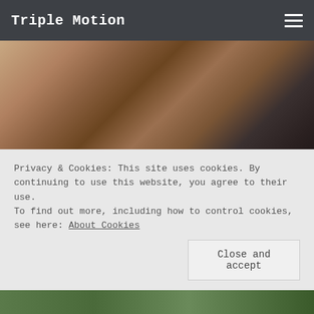Triple Motion
[Figure (photo): Close-up photo of hands working on what appears to be a braided hairstyle or similar manual work, showing fingers and hair/material in warm brown tones with dark background]
Privacy & Cookies: This site uses cookies. By continuing to use this website, you agree to their use.
To find out more, including how to control cookies, see here: About Cookies
Close and accept
[Figure (photo): Partial bottom strip showing the top edge of another photo with green tones]